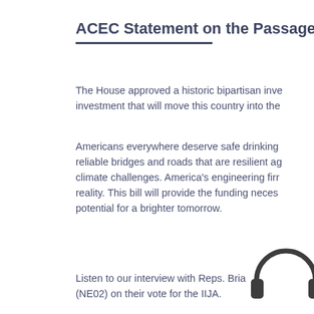ACEC Statement on the Passage of th
The House approved a historic bipartisan inve investment that will move this country into the
Americans everywhere deserve safe drinking reliable bridges and roads that are resilient ag climate challenges. America's engineering fir reality. This bill will provide the funding neces potential for a brighter tomorrow.
[Figure (illustration): Headphone icon in dark gray/charcoal color, partially visible at right edge of page]
Listen to our interview with Reps. Bria (NE02) on their vote for the IIJA.